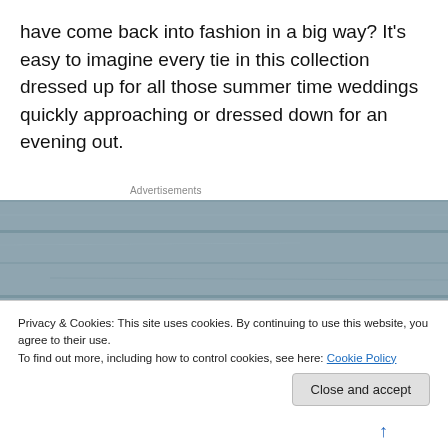have come back into fashion in a big way? It's easy to imagine every tie in this collection dressed up for all those summer time weddings quickly approaching or dressed down for an evening out.
Advertisements
[Figure (photo): Photo showing three white rectangular canvases or frames leaning against a wooden plank wall with grey/blue tones]
Privacy & Cookies: This site uses cookies. By continuing to use this website, you agree to their use.
To find out more, including how to control cookies, see here: Cookie Policy
Close and accept